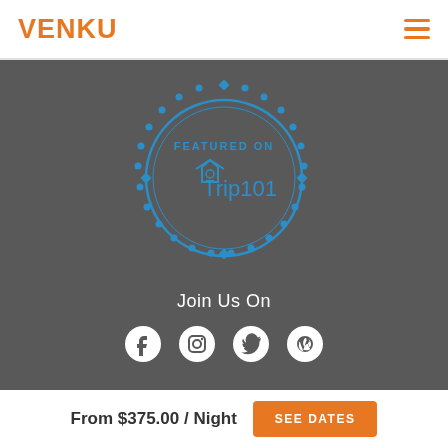VENKU
[Figure (logo): VENKU logo in orange bold text on white header bar]
[Figure (illustration): Featured on Trip101 badge — circular blue dotted border with camera-house icon and 'FEATURED ON Trip101' text in blue, on dark gray background]
Join Us On
[Figure (infographic): Social media icons: Facebook, Instagram, Twitter, Pinterest — white icons on dark gray background]
From $375.00 / Night
SEE DATES